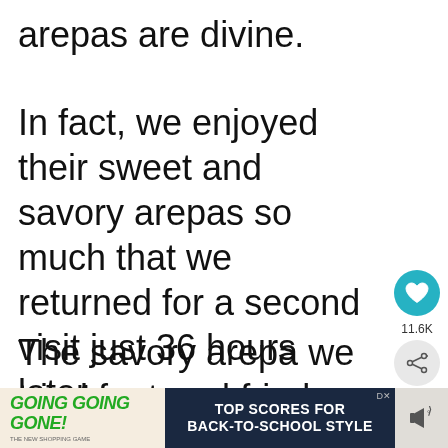arepas are divine.
In fact, we enjoyed their sweet and savory arepas so much that we returned for a second visit just 36 hours later.
The savory arepa we tried featured fried pork, beans, plantains, and
[Figure (infographic): Heart/like button (teal circle with white heart icon), share count 11.6K, share button (gray circle with share icon), and a 'What's Next' recommendation box showing a thumbnail image with text 'A Shopping and Eating...']
[Figure (infographic): Advertisement banner: 'GOING GOING GONE!' in green italic text on left tan background, 'TOP SCORES FOR BACK-TO-SCHOOL STYLE' in white text on dark navy background on right, with DX close button.]